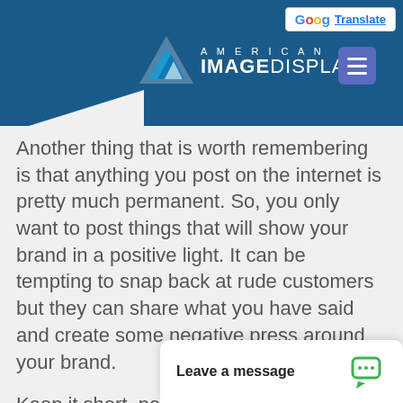[Figure (logo): American Image Displays logo with blue triangular mountain icon and company name, on dark blue header bar with Google Translate button and hamburger menu icon]
Another thing that is worth remembering is that anything you post on the internet is pretty much permanent. So, you only want to post things that will show your brand in a positive light. It can be tempting to snap back at rude customers but they can share what you have said and create some negative press around your brand.
Keep it short, positive, and as helpful as possible.
Benefit